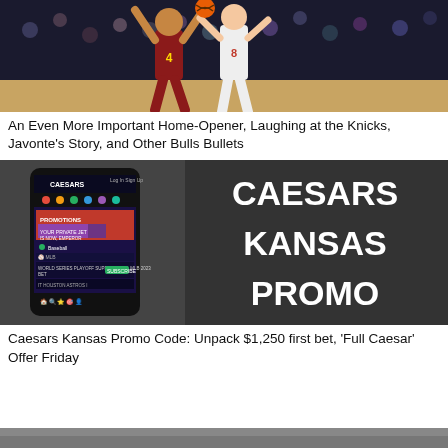[Figure (photo): Basketball game photo showing two players, one in maroon jersey #4 and one in white jersey #8, competing. Crowd visible in background.]
An Even More Important Home-Opener, Laughing at the Knicks, Javonte's Story, and Other Bulls Bullets
[Figure (photo): Caesars Kansas Promo advertisement image showing a hand holding a smartphone with the Caesars app, and large white bold text reading CAESARS KANSAS PROMO on a dark background.]
Caesars Kansas Promo Code: Unpack $1,250 first bet, 'Full Caesar' Offer Friday
[Figure (photo): Partial image at bottom of page, cut off.]